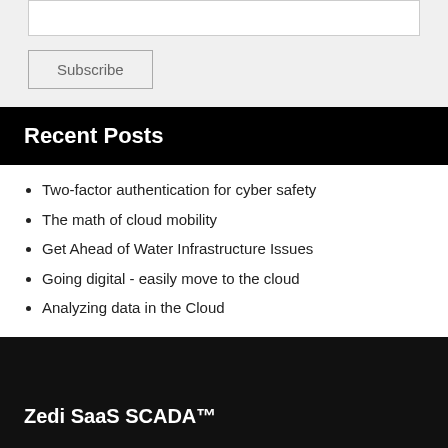[input field]
Subscribe
Recent Posts
Two-factor authentication for cyber safety
The math of cloud mobility
Get Ahead of Water Infrastructure Issues
Going digital - easily move to the cloud
Analyzing data in the Cloud
Zedi SaaS SCADA™